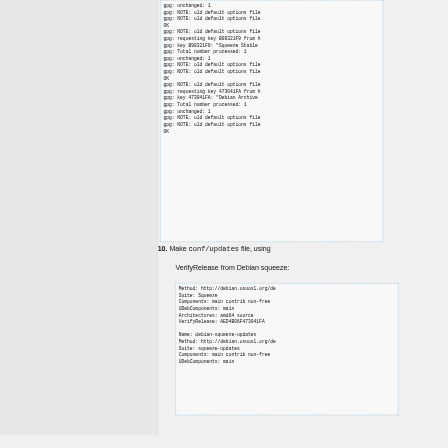[Figure (screenshot): Terminal/code output box showing gpg key import messages with 'unchanged: 1', NOTE lines about old default options file, key B98321F9 Squeeze Stable, requesting key 473041FA, Debian Archive, and OK confirmations]
10. Make conf/updates file, using VerifyRelease from Debian squeeze:
[Figure (screenshot): Configuration file content showing Method: http://debian.osuosl.org/de..., Suite: Squeeze, Components: main contrib non-free, UDebComponents: main, Architectures: amd64 source, VerifyRelease: AED4B06F473041FA, Name: debian-squeeze-updates, Method: http://debian.osuosl.org/de..., Suite: squeeze-updates, Components: main contrib non-free, UDebComponents: main]